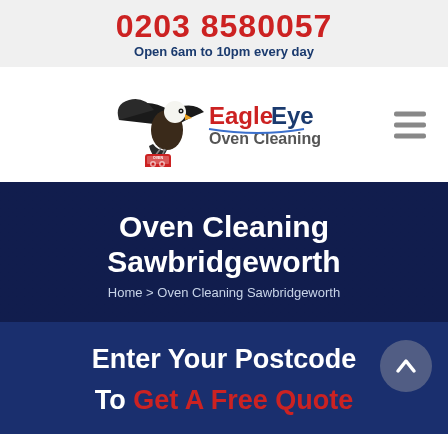0203 8580057
Open 6am to 10pm every day
[Figure (logo): EagleEye Oven Cleaning logo with a bald eagle carrying a red oven cleaning box, company name in red and blue]
Oven Cleaning Sawbridgeworth
Home > Oven Cleaning Sawbridgeworth
Enter Your Postcode
To Get A Free Quote